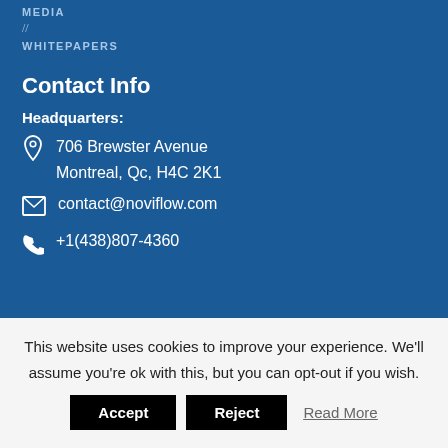MEDIA
WHITEPAPERS
Contact Info
Headquarters:
706 Brewster Avenue
Montreal, Qc, H4C 2K1
contact@noviflow.com
+1(438)807-4360
This website uses cookies to improve your experience. We'll assume you're ok with this, but you can opt-out if you wish.
Accept
Reject
Read More